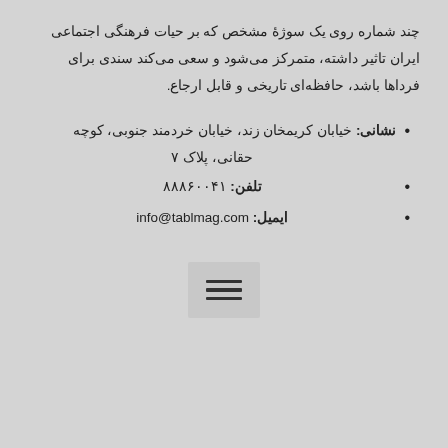چند شماره روی یک سوژهٔ مشخص که بر حیات فرهنگی اجتماعی ایران تاثیر داشته، متمرکز می‌شود و سعی می‌کند سندی برای فرداها باشد، حافظه‌ای تاریخی و قابل ارجاع.
نشانی: خیابان کریمخان زند، خیابان خردمند جنوبی، کوچه حقانی، پلاک ۷
تلفن: ۸۸۸۶۰۰۴۱
ایمیل: info@tablmag.com
[Figure (other): Hamburger menu icon button with three horizontal bars]